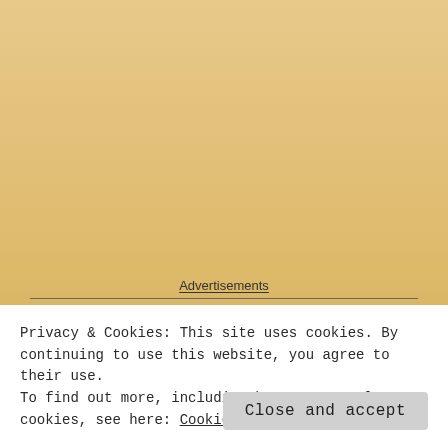[Figure (illustration): Beige/tan gradient background filling upper portion of page, representing a webpage background.]
Advertisements
Privacy & Cookies: This site uses cookies. By continuing to use this website, you agree to their use.
To find out more, including how to control cookies, see here: Cookie Policy
Close and accept